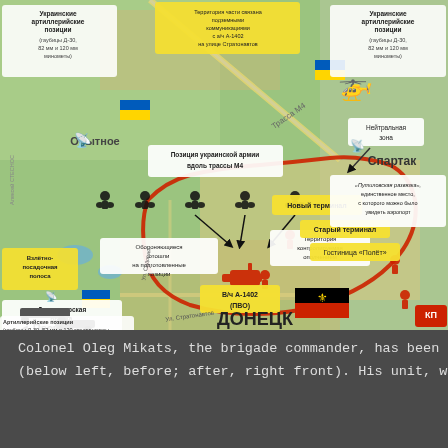[Figure (map): Military infographic map in Russian language showing the area around Donetsk airport. Labels indicate Ukrainian artillery positions with howitzers D-30, 82mm and 120mm mortars; positions of Ukrainian army along highway M4; defending forces retreated to prepared positions; dispatch tower; new terminal; old terminal; hotel Polyot; district controlled by militia; Putilovskaya razvyazka (only place from which the airport can be seen); neutral zone; Spartak village; Peski village; military unit A-1402 (air defense); Donetsk city label. DNR flag shown. Red arc shows frontline. Yellow callout boxes mark key points. Black silhouettes represent soldiers. KP logo in bottom right.]
Colonel Oleg Mikats, the brigade commander, has been captured (below left, before; after, right front). His unit, which has a nominal